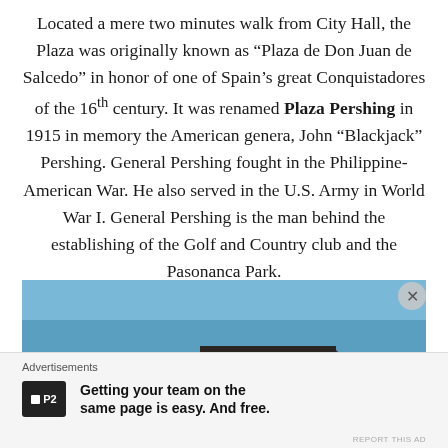Located a mere two minutes walk from City Hall, the Plaza was originally known as “Plaza de Don Juan de Salcedo” in honor of one of Spain’s great Conquistadores of the 16th century. It was renamed Plaza Pershing in 1915 in memory the American genera, John “Blackjack” Pershing. General Pershing fought in the Philippine-American War. He also served in the U.S. Army in World War I. General Pershing is the man behind the establishing of the Golf and Country club and the Pasonanca Park.
[Figure (photo): Photograph of a building with a distinctive roof against a clear blue sky]
Advertisements
P2 — Getting your team on the same page is easy. And free.